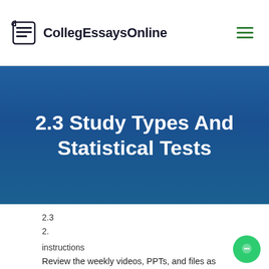CollegEssaysOnline
2.3 Study Types And Statistical Tests
2.3
2.
instructions
Review the weekly videos, PPTs, and files as listed in the Resources above.
Complete the assigned textbook reading. Be sure and follow any hyperlinks to the additional